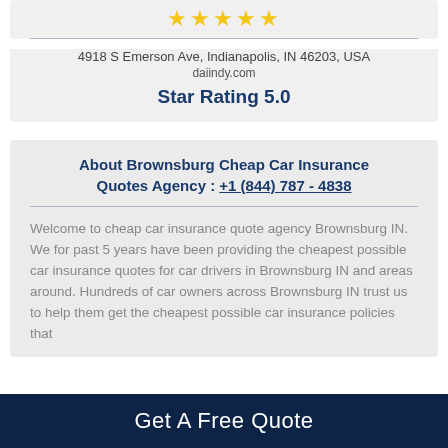[Figure (other): Five gold star rating icons]
4918 S Emerson Ave, Indianapolis, IN 46203, USA
daiindy.com
Star Rating 5.0
About Brownsburg Cheap Car Insurance Quotes Agency : +1 (844) 787 - 4838
Welcome to cheap car insurance quote agency Brownsburg IN. We for past 5 years have been providing the cheapest possible car insurance quotes for car drivers in Brownsburg IN and areas around. Hundreds of car owners across Brownsburg IN trust us to help them get the cheapest possible car insurance policies that
Get A Free Quote